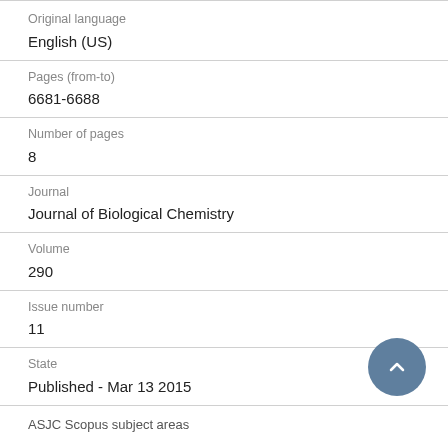Original language
English (US)
Pages (from-to)
6681-6688
Number of pages
8
Journal
Journal of Biological Chemistry
Volume
290
Issue number
11
State
Published - Mar 13 2015
ASJC Scopus subject areas